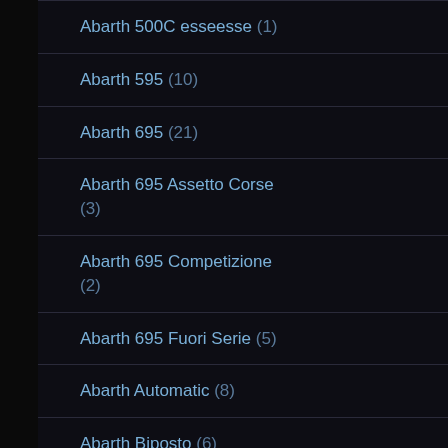Abarth 500C esseesse (1)
Abarth 595 (10)
Abarth 695 (21)
Abarth 695 Assetto Corse (3)
Abarth 695 Competizione (2)
Abarth 695 Fuori Serie (5)
Abarth Automatic (8)
Abarth Biposto (6)
Abarth Commercial (3)
Abarth Driving Experience (9)
Abarth Experience (9)
Abarth History (7)